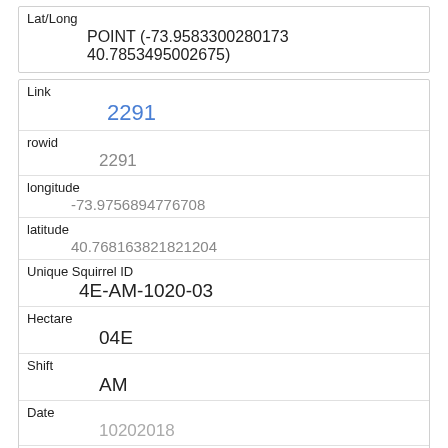| Lat/Long |
| --- |
| POINT (-73.9583300280173 40.7853495002675) |
| Link | rowid | longitude | latitude | Unique Squirrel ID | Hectare | Shift | Date | Hectare Squirrel Number |
| --- | --- | --- | --- | --- | --- | --- | --- | --- |
| 2291 |
| 2291 |
| -73.9756894776708 |
| 40.768163821821204 |
| 4E-AM-1020-03 |
| 04E |
| AM |
| 10202018 |
| 3 |